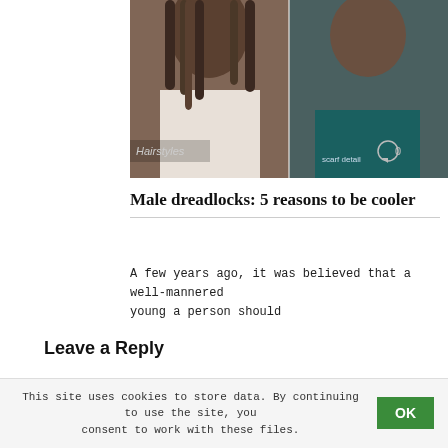[Figure (photo): Two photos side by side: left shows a person with long dreadlocks wearing a white shirt; right shows a man with a beard and a teal scarf/bandana around his neck. A 'Hairstyles' label and a chat bubble icon with '0' are visible.]
Male dreadlocks: 5 reasons to be cooler
A few years ago, it was believed that a well-mannered young a person should
Leave a Reply
Name *
Email *
This site uses cookies to store data. By continuing to use the site, you consent to work with these files.